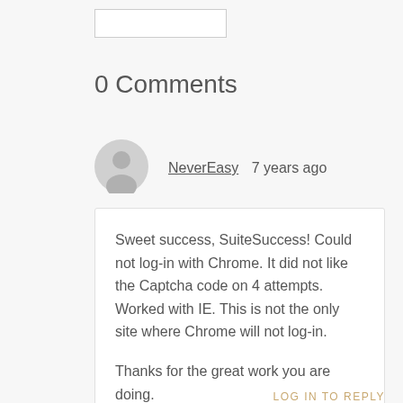[Figure (other): A small empty input text box with a border]
0 Comments
[Figure (other): Gray placeholder user avatar icon (silhouette of a person)]
NeverEasy  7 years ago
Sweet success, SuiteSuccess! Could not log-in with Chrome. It did not like the Captcha code on 4 attempts. Worked with IE. This is not the only site where Chrome will not log-in.

Thanks for the great work you are doing.

Chet
LOG IN TO REPLY